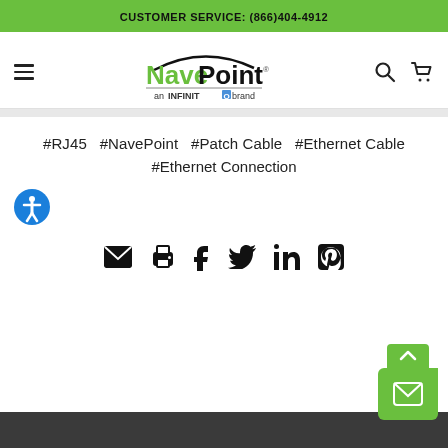CUSTOMER SERVICE: (866)404-4912
[Figure (logo): NavePoint logo - an INFINITO brand]
#RJ45   #NavePoint   #Patch Cable   #Ethernet Cable   #Ethernet Connection
[Figure (infographic): Social share icons: email, print, facebook, twitter, linkedin, pinterest]